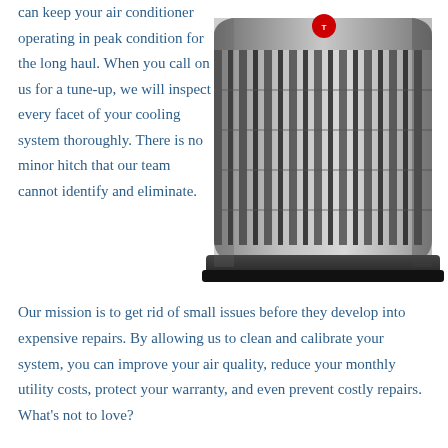can keep your air conditioner operating in peak condition for the long haul. When you call on us for a tune-up, we will inspect every facet of your cooling system thoroughly. There is no minor hitch that our team cannot identify and eliminate.
[Figure (photo): Photo of a Trane central air conditioning outdoor unit, silver/gray colored with horizontal vent slats and rounded corners, viewed from a slight angle.]
Our mission is to get rid of small issues before they develop into expensive repairs. By allowing us to clean and calibrate your system, you can improve your air quality, reduce your monthly utility costs, protect your warranty, and even prevent costly repairs. What's not to love?